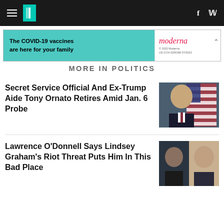HuffPost navigation bar with logo
[Figure (other): Advertisement banner: The COVID-19 vaccines are here for your family – Moderna]
MORE IN POLITICS
Secret Service Official And Ex-Trump Aide Tony Ornato Retires Amid Jan. 6 Probe
[Figure (photo): Photo of Tony Ornato, bald man in dark suit with American flag in background]
Lawrence O'Donnell Says Lindsey Graham's Riot Threat Puts Him In This Bad Place
[Figure (photo): Side-by-side photos of two men, one in dark background and one lighter]